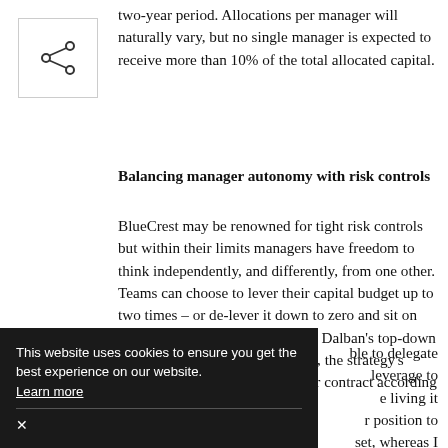[Figure (other): Share icon inside a square border]
two-year period. Allocations per manager will naturally vary, but no single manager is expected to receive more than 10% of the total allocated capital.
Balancing manager autonomy with risk controls
BlueCrest may be renowned for tight risk controls but within their limits managers have freedom to think independently, and differently, from one other. Teams can choose to lever their capital budget up to two times – or de-lever it down to zero and sit on cash. This means that even when Dalban's top-down capital allocations do not change, the strategy's overall exposure could expand or contract according to managers' bottom-up [...]ble to delegate [...] leverage to [...] e living it [...] r position to [...] set, whereas I cannot be a specialist in all sectors or sub-
This website uses cookies to ensure you get the best experience on our website. Learn more ×